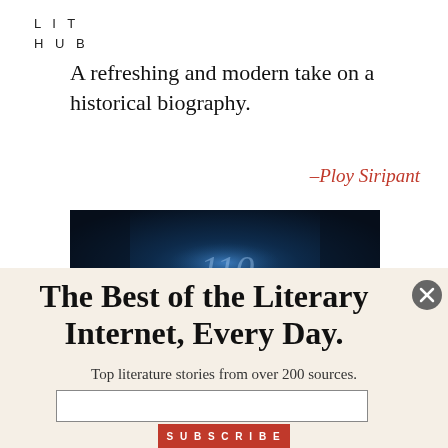LIT
HUB
A refreshing and modern take on a historical biography.
–Ploy Siripant
[Figure (photo): Dark blue textured background with faint handwritten numerals visible in blue/white light]
The Best of the Literary Internet, Every Day.
Top literature stories from over 200 sources.
SUBSCRIBE